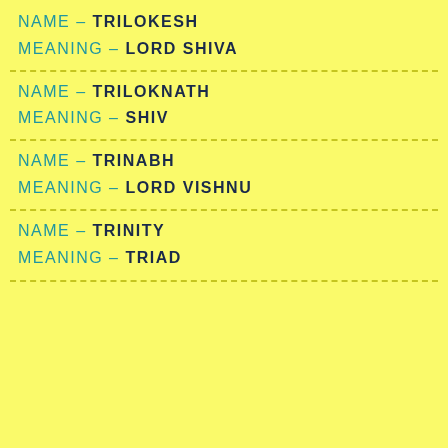NAME – TRILOKESH
MEANING – LORD SHIVA
NAME – TRILOKNATH
MEANING – SHIV
NAME – TRINABH
MEANING – LORD VISHNU
NAME – TRINITY
MEANING – TRIAD